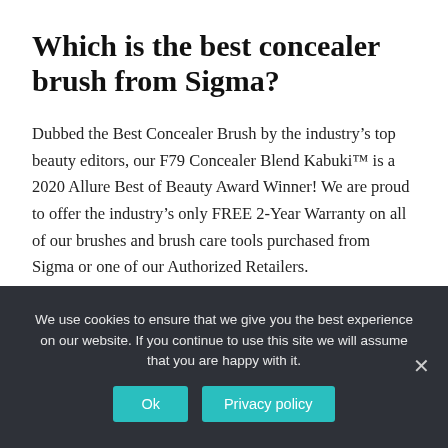Which is the best concealer brush from Sigma?
Dubbed the Best Concealer Brush by the industry’s top beauty editors, our F79 Concealer Blend Kabuki™ is a 2020 Allure Best of Beauty Award Winner! We are proud to offer the industry’s only FREE 2-Year Warranty on all of our brushes and brush care tools purchased from Sigma or one of our Authorized Retailers.
We use cookies to ensure that we give you the best experience on our website. If you continue to use this site we will assume that you are happy with it.